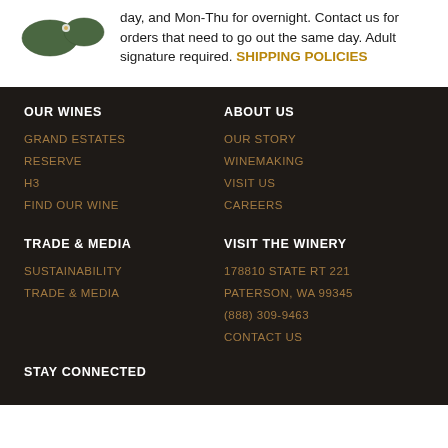day, and Mon-Thu for overnight. Contact us for orders that need to go out the same day. Adult signature required. SHIPPING POLICIES
OUR WINES
ABOUT US
GRAND ESTATES
OUR STORY
RESERVE
WINEMAKING
H3
VISIT US
FIND OUR WINE
CAREERS
TRADE & MEDIA
VISIT THE WINERY
SUSTAINABILITY
178810 STATE RT 221
TRADE & MEDIA
PATERSON, WA 99345
(888) 309-9463
CONTACT US
STAY CONNECTED